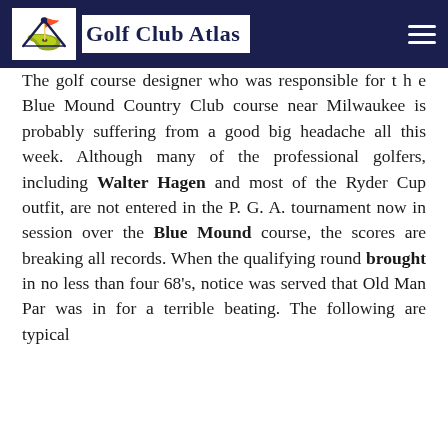Golf Club Atlas
The golf course designer who was responsible for the Blue Mound Country Club course near Milwaukee is probably suffering from a good big headache all this week. Although many of the professional golfers, including Walter Hagen and most of the Ryder Cup outfit, are not entered in the P. G. A. tournament now in session over the Blue Mound course, the scores are breaking all records. When the qualifying round brought in no less than four 68's, notice was served that Old Man Par was in for a terrible beating. The following are typical